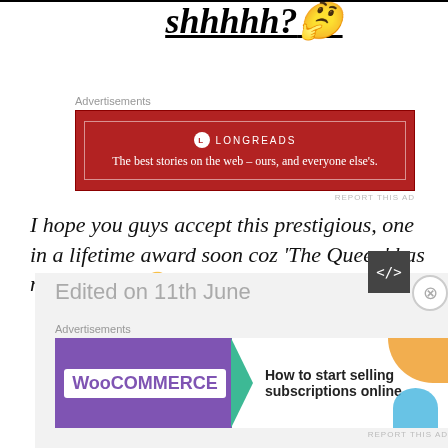shhhhh? 🤔
[Figure (other): Longreads advertisement banner: red background with white border, logo and tagline 'The best stories on the web – ours, and everyone else's.']
I hope you guys accept this prestigious, one in a lifetime award soon coz 'The Queen' has no patience! 🙄
Edited on 11th June
[Figure (other): WooCommerce advertisement: purple background with WooCommerce logo, teal arrow, text 'How to start selling subscriptions online', orange and blue decorative shapes]